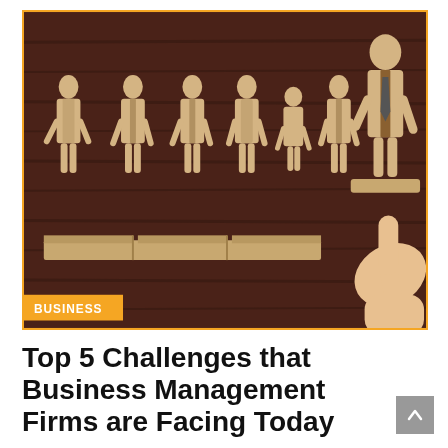[Figure (photo): Photo of wooden figurines representing business people standing on wooden blocks/pedestals. A hand is lifting one figurine on a separate elevated block (like a podium), symbolizing leadership selection or promotion. The background is dark wood texture.]
BUSINESS
Top 5 Challenges that Business Management Firms are Facing Today